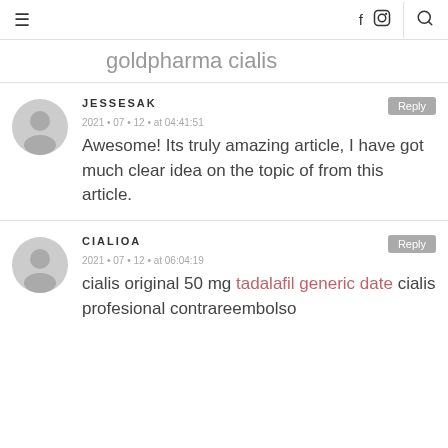≡  f  [instagram]  |  [search]
goldpharma cialis
JESSESAK
2021 · 07 · 12 · at 04:41:51
Awesome! Its truly amazing article, I have got much clear idea on the topic of from this article.
CIALIOA
2021 · 07 · 12 · at 06:04:19
cialis original 50 mg tadalafil generic date cialis profesional contrareembolso